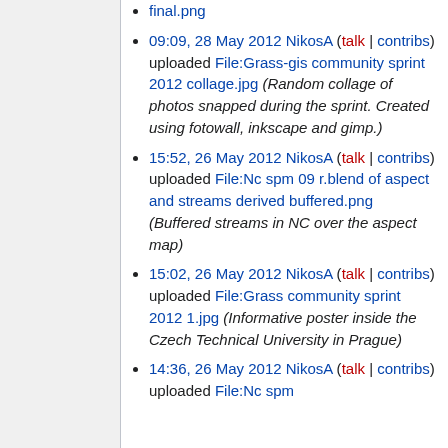final.png
09:09, 28 May 2012 NikosA (talk | contribs) uploaded File:Grass-gis community sprint 2012 collage.jpg (Random collage of photos snapped during the sprint. Created using fotowall, inkscape and gimp.)
15:52, 26 May 2012 NikosA (talk | contribs) uploaded File:Nc spm 09 r.blend of aspect and streams derived buffered.png (Buffered streams in NC over the aspect map)
15:02, 26 May 2012 NikosA (talk | contribs) uploaded File:Grass community sprint 2012 1.jpg (Informative poster inside the Czech Technical University in Prague)
14:36, 26 May 2012 NikosA (talk | contribs) uploaded File:Nc spm